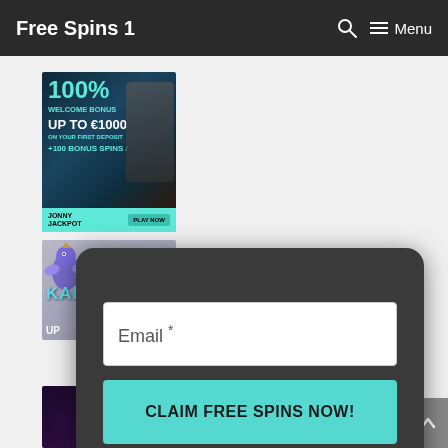Free Spins 1  Menu
[Figure (photo): Jonny Jackpot casino advertisement: 100% Welcome Bonus Up To €1000 On Your First Deposit +100 Bonus Spins. Shows a man in a suit. Jonny Jackpot branding with Play Now button.]
[Figure (photo): Karamba casino advertisement showing the Karamba logo with a bird mascot on a grey/purple background.]
[Figure (screenshot): Email subscription modal with dark rounded background. Contains email input field labeled 'Email *' and a teal button labeled 'CLAIM FREE SPINS NOW!' with an X close button.]
[Figure (photo): Partial casino advertisement visible at bottom left, purple/dark background.]